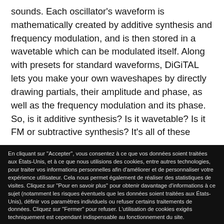sounds. Each oscillator's waveform is mathematically created by additive synthesis and frequency modulation, and is then stored in a wavetable which can be modulated itself. Along with presets for standard waveforms, DiGiTAL lets you make your own waveshapes by directly drawing partials, their amplitude and phase, as well as the frequency modulation and its phase. So, is it additive synthesis? Is it wavetable? Is it FM or subtractive synthesis? It's all of these
En cliquant sur "Accepter", vous consentez à ce que vos données soient traitées aux États-Unis, et à ce que nous utilisions des cookies, entre autres technologies, pour traiter vos informations personnelles afin d'améliorer et de personnaliser votre expérience utilisateur. Cela nous permet également de réaliser des statistiques de visites. Cliquez sur "Pour en savoir plus" pour obtenir davantage d'informations à ce sujet (notamment les risques éventuels que les données soient traitées aux États-Unis), définir vos paramètres individuels ou refuser certains traitements de données. Cliquez sur "Fermer" pour refuser. L'utilisation de cookies exigés techniquement est cependant indispensable au fonctionnement du site.
Accepter
Fermer
Pour en savoir plus